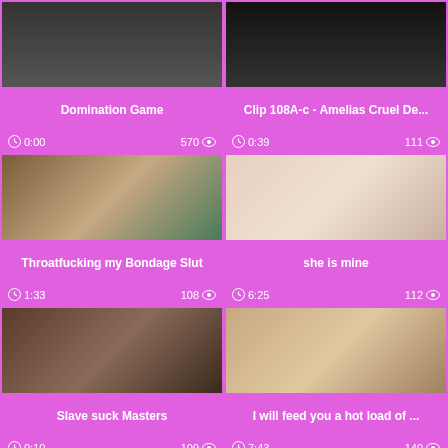[Figure (photo): Thumbnail image for Domination Game video]
Domination Game
0:00  570
[Figure (photo): Thumbnail image for Clip 108A-c - Amelias Cruel De... video]
Clip 108A-c - Amelias Cruel De...
0:39  111
[Figure (photo): Thumbnail image for Throatfucking my Bondage Slut video]
Throatfucking my Bondage Slut
1:33  108
[Figure (photo): Thumbnail image for she is mine video]
she is mine
6:25  112
[Figure (photo): Thumbnail image for Slave suck Masters video]
Slave suck Masters
0:10  109
[Figure (photo): Thumbnail image for I will feed you a hot load of ... video]
I will feed you a hot load of ...
7:43  140